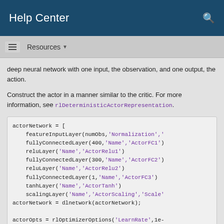Help Center
Resources
deep neural network with one input, the observation, and one output, the action.
Construct the actor in a manner similar to the critic. For more information, see rlDeterministicActorRepresentation.
[Figure (screenshot): MATLAB code block showing actorNetwork layer definitions and dlnetwork construction and rlOptimizerOptions call]